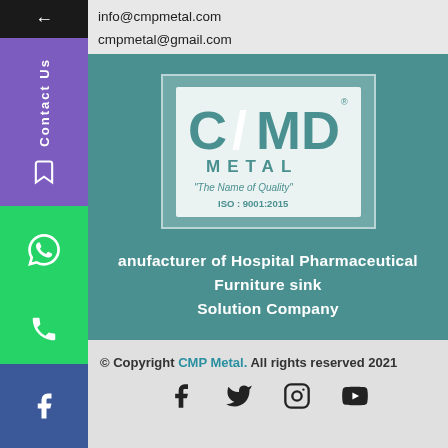info@cmpmetal.com
cmpmetal@gmail.com
[Figure (logo): CMP Metal logo with tagline 'The Name of Quality' and ISO 9001:2015 certification]
Manufacturer of Hospital Pharmaceutical Furniture sink Solution Company
© Copyright CMP Metal. All rights reserved 2021
[Figure (infographic): Footer social media icons: Facebook, Twitter, Instagram, YouTube]